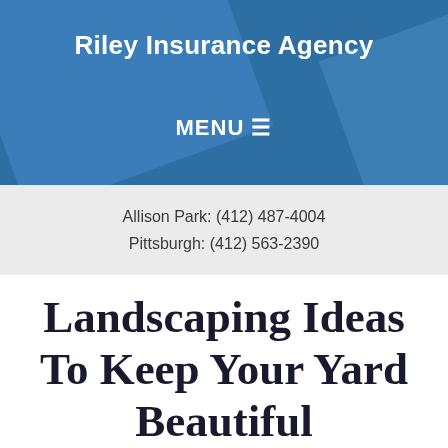Riley Insurance Agency
MENU ☰
Allison Park: (412) 487-4004
Pittsburgh: (412) 563-2390
Landscaping Ideas To Keep Your Yard Beautiful